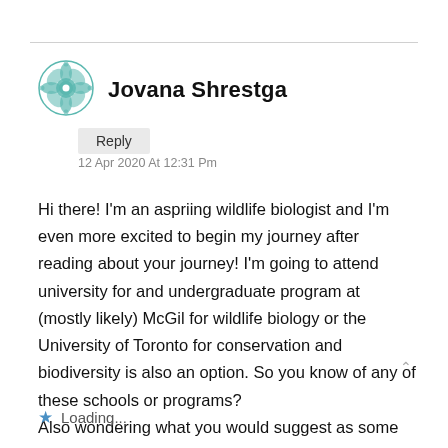Jovana Shrestga
Reply
12 Apr 2020 At 12:31 Pm
Hi there! I'm an aspriing wildlife biologist and I'm even more excited to begin my journey after reading about your journey! I'm going to attend university for and undergraduate program at (mostly likely) McGil for wildlife biology or the University of Toronto for conservation and biodiversity is also an option. So you know of any of these schools or programs?
Also wondering what you would suggest as some tips for this career, I know internships and job experience is really important!
Loading...